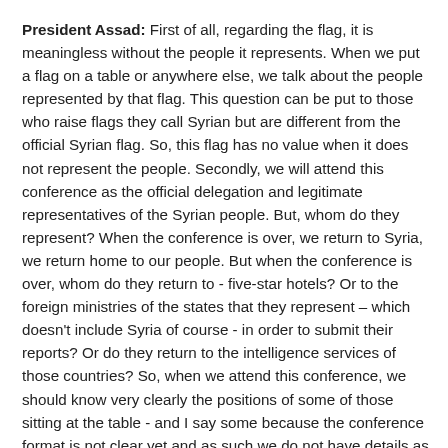President Assad: First of all, regarding the flag, it is meaningless without the people it represents. When we put a flag on a table or anywhere else, we talk about the people represented by that flag. This question can be put to those who raise flags they call Syrian but are different from the official Syrian flag. So, this flag has no value when it does not represent the people. Secondly, we will attend this conference as the official delegation and legitimate representatives of the Syrian people. But, whom do they represent? When the conference is over, we return to Syria, we return home to our people. But when the conference is over, whom do they return to - five-star hotels? Or to the foreign ministries of the states that they represent – which doesn't include Syria of course - in order to submit their reports? Or do they return to the intelligence services of those countries? So, when we attend this conference, we should know very clearly the positions of some of those sitting at the table - and I say some because the conference format is not clear yet and as such we do not have details as to how the patriotic Syrian opposition will be considered or the other opposition parties in Syria. As for the opposition